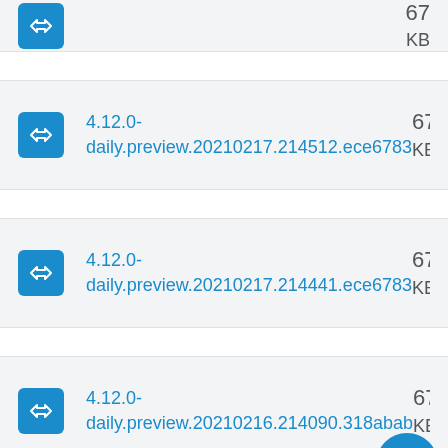4.12.0-daily.preview.20210217.214512.ece6783  67 KB
4.12.0-daily.preview.20210217.214441.ece6783  67 KB
4.12.0-daily.preview.20210216.214090.318abab  67 KB
4.12.0-  67 KB